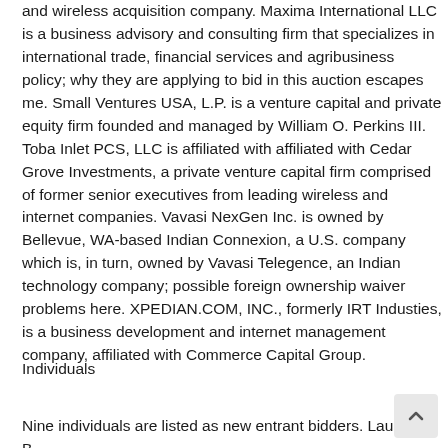and wireless acquisition company. Maxima International LLC is a business advisory and consulting firm that specializes in international trade, financial services and agribusiness policy; why they are applying to bid in this auction escapes me. Small Ventures USA, L.P. is a venture capital and private equity firm founded and managed by William O. Perkins III. Toba Inlet PCS, LLC is affiliated with affiliated with Cedar Grove Investments, a private venture capital firm comprised of former senior executives from leading wireless and internet companies. Vavasi NexGen Inc. is owned by Bellevue, WA-based Indian Connexion, a U.S. company which is, in turn, owned by Vavasi Telegence, an Indian technology company; possible foreign ownership waiver problems here. XPEDIAN.COM, INC., formerly IRT Industies, is a business development and internet management company, affiliated with Commerce Capital Group.
Individuals
Nine individuals are listed as new entrant bidders. Laurence B...